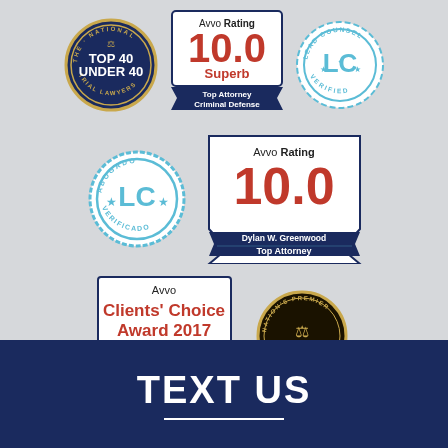[Figure (logo): The National Trial Lawyers Top 40 Under 40 circular badge - dark navy blue with gold border]
[Figure (logo): Avvo Rating 10.0 Superb - Top Attorney Criminal Defense badge with navy ribbon]
[Figure (logo): Lead Counsel LC Verified circular badge in teal/blue]
[Figure (logo): Abogado LC Verificado circular teal badge]
[Figure (logo): Avvo Rating 10.0 Dylan W. Greenwood Top Attorney badge with pentagon/chevron shape]
[Figure (logo): Avvo Clients Choice Award 2017 Dylan W. Greenwood badge]
[Figure (logo): NACDA Nation's Premier Top Ten Ranking circular badge with gold border]
TEXT US